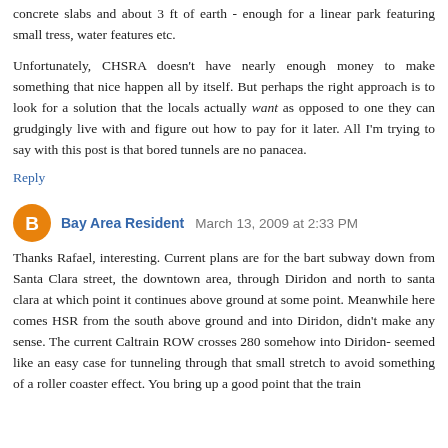concrete slabs and about 3 ft of earth - enough for a linear park featuring small tress, water features etc.
Unfortunately, CHSRA doesn't have nearly enough money to make something that nice happen all by itself. But perhaps the right approach is to look for a solution that the locals actually want as opposed to one they can grudgingly live with and figure out how to pay for it later. All I'm trying to say with this post is that bored tunnels are no panacea.
Reply
Bay Area Resident  March 13, 2009 at 2:33 PM
Thanks Rafael, interesting. Current plans are for the bart subway down from Santa Clara street, the downtown area, through Diridon and north to santa clara at which point it continues above ground at some point. Meanwhile here comes HSR from the south above ground and into Diridon, didn't make any sense. The current Caltrain ROW crosses 280 somehow into Diridon- seemed like an easy case for tunneling through that small stretch to avoid something of a roller coaster effect. You bring up a good point that the train